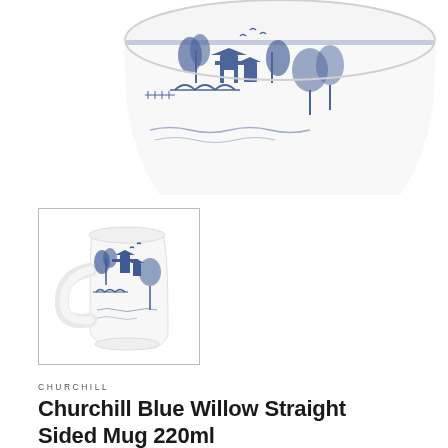[Figure (photo): Top view of a white ceramic mug with blue willow pattern design, showing the rim and top portion of the mug, partially cropped.]
[Figure (photo): Thumbnail image of the Churchill Blue Willow Straight Sided Mug 220ml — a tall white ceramic mug with blue willow pattern, with a looped handle on the left, shown against white background, inside a light gray border box.]
CHURCHILL
Churchill Blue Willow Straight Sided Mug 220ml
SKU: WBMBMS
Barcode: 5011109000858
£4.03 GBP   Sold out